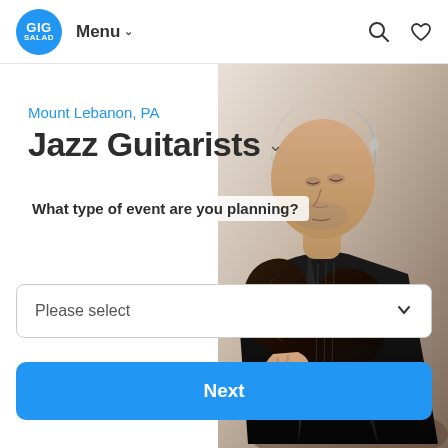GIG SALAD  Menu  [search icon] [heart icon]
[Figure (photo): Older man with gray hair playing a dark jazz guitar, wearing a black jacket, shown from the right side of the frame against a light background.]
Mount Lebanon, PA
Jazz Guitarists
What type of event are you planning?
Please select
Next